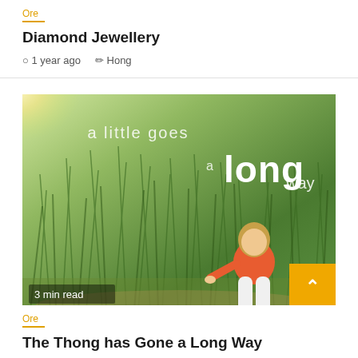Ore
Diamond Jewellery
1 year ago  Hong
[Figure (photo): A young child in an orange top and white leggings crouching near tall green grass in a garden setting. Text overlay reads 'a little goes a long way'. Badge reads '3 min read'.]
Ore
The Thong has Gone a Long Way